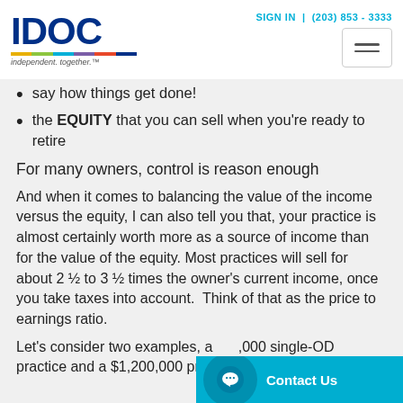IDOC independent. together. | SIGN IN | (203) 853 - 3333
say how things get done!
the EQUITY that you can sell when you're ready to retire
For many owners, control is reason enough
And when it comes to balancing the value of the income versus the equity, I can also tell you that, your practice is almost certainly worth more as a source of income than for the value of the equity. Most practices will sell for about 2 ½ to 3 ½ times the owner's current income, once you take taxes into account. Think of that as the price to earnings ratio.
Let’s consider two examples, a [...]000 single-OD practice and a $1,200,000 pr[...]